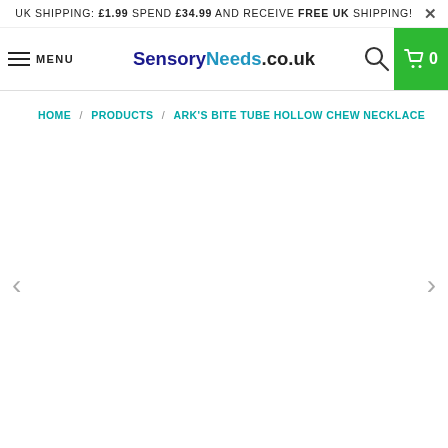UK SHIPPING: £1.99 SPEND £34.99 AND RECEIVE FREE UK SHIPPING!
MENU | SensoryNeeds.co.uk | 0
HOME / PRODUCTS / ARK'S BITE TUBE HOLLOW CHEW NECKLACE
[Figure (photo): Product image area for ARK's Bite Tube Hollow Chew Necklace — currently blank/loading, with left and right navigation arrows]